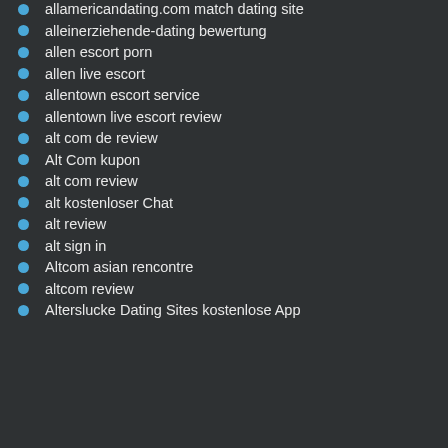allamericandating.com match dating site
alleinerziehende-dating bewertung
allen escort porn
allen live escort
allentown escort service
allentown live escort review
alt com de review
Alt Com kupon
alt com review
alt kostenloser Chat
alt review
alt sign in
Altcom asian rencontre
altcom review
Alterslucke Dating Sites kostenlose App